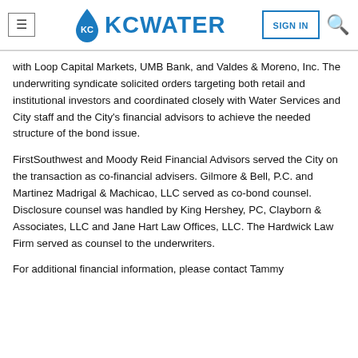KC Water — Navigation header with menu, logo, sign in, and search
with Loop Capital Markets, UMB Bank, and Valdes & Moreno, Inc. The underwriting syndicate solicited orders targeting both retail and institutional investors and coordinated closely with Water Services and City staff and the City's financial advisors to achieve the needed structure of the bond issue.
FirstSouthwest and Moody Reid Financial Advisors served the City on the transaction as co-financial advisers. Gilmore & Bell, P.C. and Martinez Madrigal & Machicao, LLC served as co-bond counsel. Disclosure counsel was handled by King Hershey, PC, Clayborn & Associates, LLC and Jane Hart Law Offices, LLC. The Hardwick Law Firm served as counsel to the underwriters.
For additional financial information, please contact Tammy